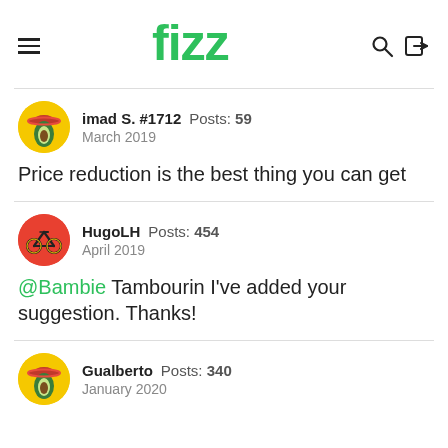fizz
imad S. #1712  Posts: 59  March 2019
Price reduction is the best thing you can get
HugoLH  Posts: 454  April 2019
@Bambie Tambourin I've added your suggestion. Thanks!
Gualberto  Posts: 340  January 2020